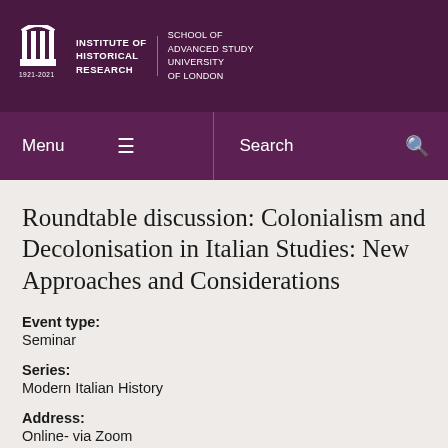Institute of Historical Research | School of Advanced Study University of London
Roundtable discussion: Colonialism and Decolonisation in Italian Studies: New Approaches and Considerations
Event type:
Seminar
Series:
Modern Italian History
Address:
Online- via Zoom
Speakers: